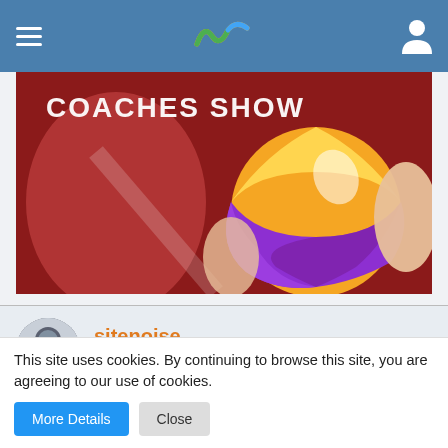Navigation bar with hamburger menu, logo, and user icon
[Figure (screenshot): Coaches Show promotional image — person holding a colorful volleyball with text 'COACHES SHOW' overlaid]
sitenoise
Enlightened
Aug 18th 2021  +1
This site uses cookies. By continuing to browse this site, you are agreeing to our use of cookies.